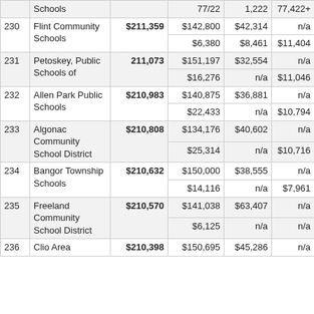| # | District | Total | Col4 | Col5 | Col6 |
| --- | --- | --- | --- | --- | --- |
|  | Schools |  | 77/22 | 1,222 | 77,422+ |
| 230 | Flint Community Schools | $211,359 | $142,800 | $42,314 | n/a |
|  |  |  | $6,380 | $8,461 | $11,404 |
| 231 | Petoskey, Public Schools of | $211,073 | $151,197 | $32,554 | n/a |
|  |  |  | $16,276 | n/a | $11,046 |
| 232 | Allen Park Public Schools | $210,983 | $140,875 | $36,881 | n/a |
|  |  |  | $22,433 | n/a | $10,794 |
| 233 | Algonac Community School District | $210,808 | $134,176 | $40,602 | n/a |
|  |  |  | $25,314 | n/a | $10,716 |
| 234 | Bangor Township Schools | $210,632 | $150,000 | $38,555 | n/a |
|  |  |  | $14,116 | n/a | $7,961 |
| 235 | Freeland Community School District | $210,570 | $141,038 | $63,407 | n/a |
|  |  |  | $6,125 | n/a | n/a |
| 236 | Clio Area | $210,398 | $150,695 | $45,286 | n/a |